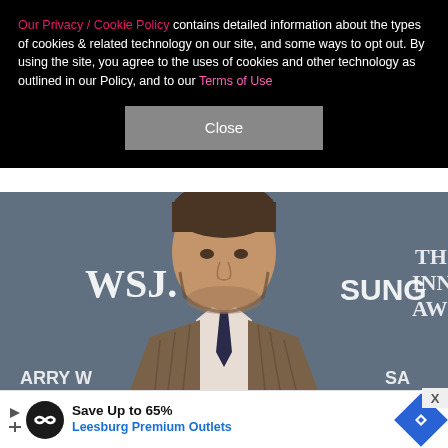Our Privacy / Cookie Policy contains detailed information about the types of cookies & related technology on our site, and some ways to opt out. By using the site, you agree to the uses of cookies and other technology as outlined in our Policy, and to our Terms of Use
[Figure (photo): Close button UI element - gray rectangular button with text 'Close' on black background]
[Figure (photo): Photo of a man in a brown plaid suit with a dark tie, standing in front of a banner wall with WSJ. and Samsung logos]
Save Up to 65% Leesburg Premium Outlets